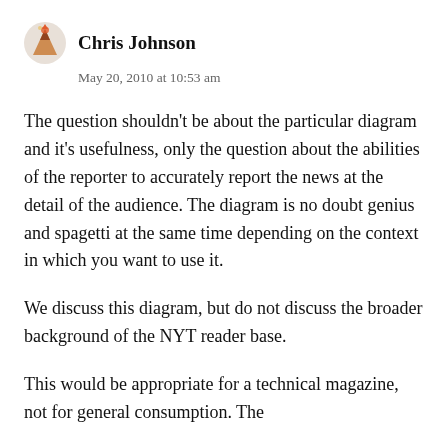Chris Johnson
May 20, 2010 at 10:53 am
The question shouldn't be about the particular diagram and it's usefulness, only the question about the abilities of the reporter to accurately report the news at the detail of the audience. The diagram is no doubt genius and spagetti at the same time depending on the context in which you want to use it.
We discuss this diagram, but do not discuss the broader background of the NYT reader base.
This would be appropriate for a technical magazine, not for general consumption. The